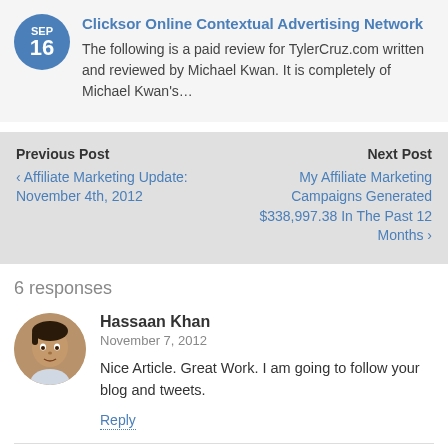Clicksor Online Contextual Advertising Network
The following is a paid review for TylerCruz.com written and reviewed by Michael Kwan. It is completely of Michael Kwan's…
Previous Post
‹ Affiliate Marketing Update: November 4th, 2012
Next Post
My Affiliate Marketing Campaigns Generated $338,997.38 In The Past 12 Months ›
6 responses
Hassaan Khan
November 7, 2012
Nice Article. Great Work. I am going to follow your blog and tweets.
Reply